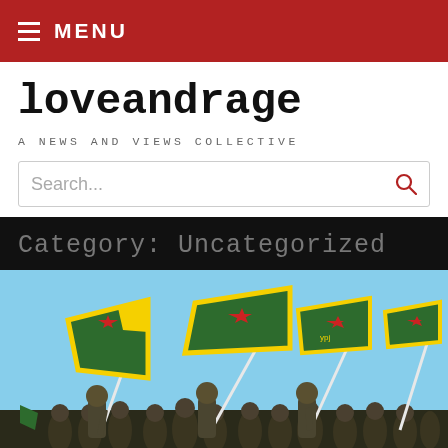MENU
loveandrage
A NEWS AND VIEWS COLLECTIVE
Search...
Category: Uncategorized
[Figure (photo): Soldiers in military uniform holding YPG/YPJ flags (green, yellow, red star) against a blue sky]
Follow ...